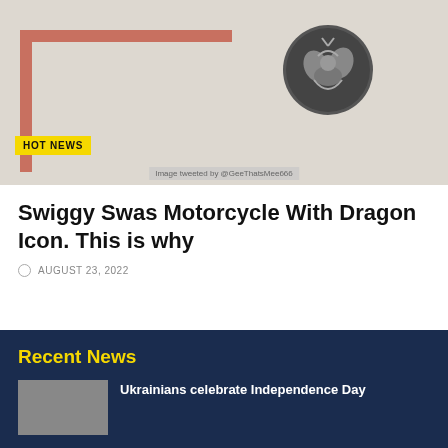[Figure (photo): Map background with orange/red road outline border and dark shield emblem with dragon icon in center. HOT NEWS badge at bottom left. Image credit: Image tweeted by @GeeThatsMee666]
Swiggy Swas Motorcycle With Dragon Icon. This is why
AUGUST 23, 2022
Recent News
Ukrainians celebrate Independence Day